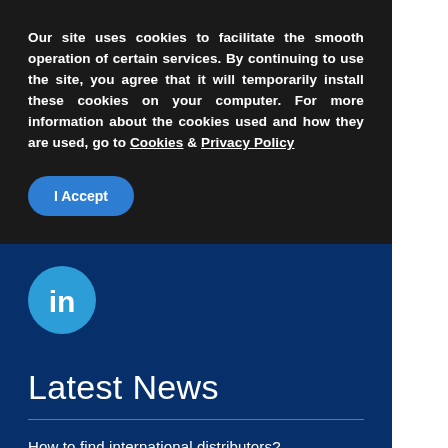Our site uses cookies to facilitate the smooth operation of certain services. By continuing to use the site, you agree that it will temporarily install these cookies on your computer. For more information about the cookies used and how they are used, go to Cookies & Privacy Policy
I Accept
[Figure (logo): LinkedIn logo - blue circle with white 'in' text]
Latest News
How to find international distributors?